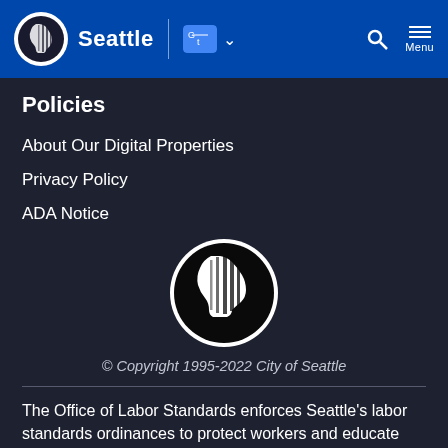Seattle | [Translate] [Search] Menu
Policies
About Our Digital Properties
Privacy Policy
ADA Notice
[Figure (logo): City of Seattle seal logo — circular black and white emblem with woman's profile and vertical lines]
© Copyright 1995-2022 City of Seattle
The Office of Labor Standards enforces Seattle's labor standards ordinances to protect workers and educate employers on their responsibilities.